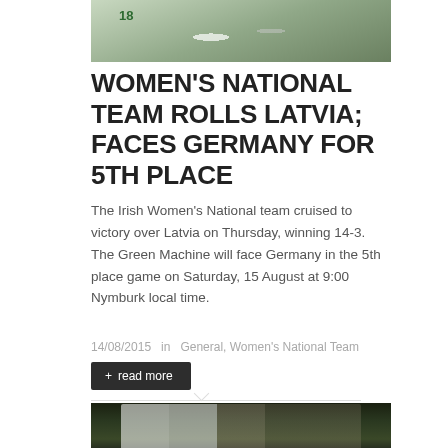[Figure (photo): Women's lacrosse team players in white jerseys, top cropped view showing player #18]
WOMEN'S NATIONAL TEAM ROLLS LATVIA; FACES GERMANY FOR 5TH PLACE
The Irish Women's National team cruised to victory over Latvia on Thursday, winning 14-3. The Green Machine will face Germany in the 5th place game on Saturday, 15 August at 9:00 Nymburk local time.
14/08/2015  in  General, Women's National Team
[Figure (photo): Women's lacrosse team celebrating on field at night, players in white and green jerseys]